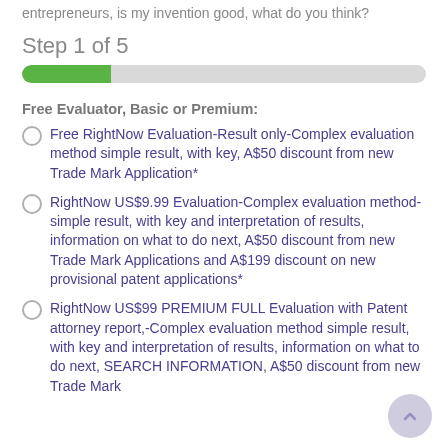entrepreneurs, is my invention good, what do you think?
Step 1 of 5
[Figure (other): Progress bar showing step 1 of 5, approximately 20% filled in green]
Free Evaluator, Basic or Premium:
Free RightNow Evaluation-Result only-Complex evaluation method simple result, with key, A$50 discount from new Trade Mark Application*
RightNow US$9.99 Evaluation-Complex evaluation method- simple result, with key and interpretation of results, information on what to do next, A$50 discount from new Trade Mark Applications and A$199 discount on new provisional patent applications*
RightNow US$99 PREMIUM FULL Evaluation with Patent attorney report,-Complex evaluation method simple result, with key and interpretation of results, information on what to do next, SEARCH INFORMATION, A$50 discount from new Trade Mark